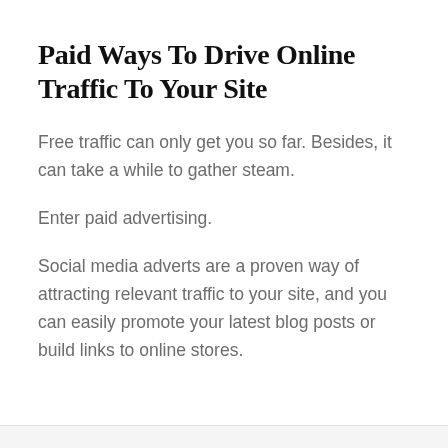Paid Ways To Drive Online Traffic To Your Site
Free traffic can only get you so far. Besides, it can take a while to gather steam.
Enter paid advertising.
Social media adverts are a proven way of attracting relevant traffic to your site, and you can easily promote your latest blog posts or build links to online stores.